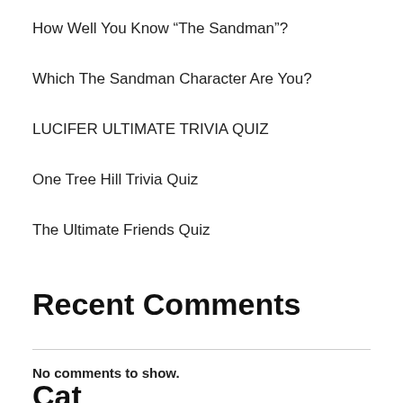How Well You Know “The Sandman”?
Which The Sandman Character Are You?
LUCIFER ULTIMATE TRIVIA QUIZ
One Tree Hill Trivia Quiz
The Ultimate Friends Quiz
Recent Comments
No comments to show.
Categories